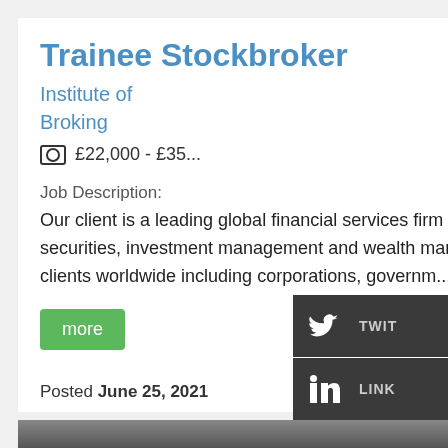Trainee Stockbroker
Institute of Broking
£22,000 - £35...
Job Description:
Our client is a leading global financial services firm providing a wide range of investment banking, securities, investment management and wealth management services. The Firm's employees serve clients worldwide including corporations, governm...
more
Posted June 25, 2021